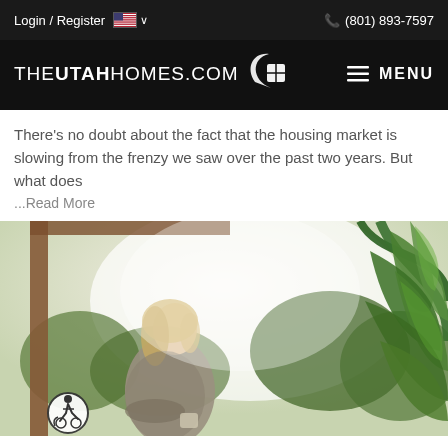Login / Register   🇺🇸 ∨   (801) 893-7597
THEUTAHHOMES.COM  MENU
There's no doubt about the fact that the housing market is slowing from the frenzy we saw over the past two years. But what does
...Read More
[Figure (photo): Middle-aged blonde woman sitting on a wooden porch or deck looking out at a green forested landscape on a bright day, wearing a cozy grey sweater, holding a mug. Large tropical plant leaves visible on the right side.]